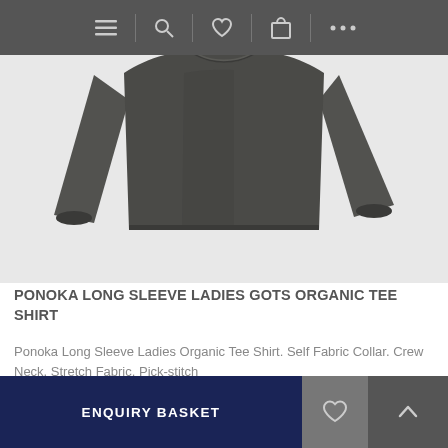[Figure (screenshot): Navigation bar with menu, search, heart/wishlist, bag, and more icons on dark grey background]
[Figure (photo): Dark charcoal long sleeve ladies tee shirt laid flat on white background]
PONOKA LONG SLEEVE LADIES GOTS ORGANIC TEE SHIRT
Ponoka Long Sleeve Ladies Organic Tee Shirt. Self Fabric Collar. Crew Neck. Stretch Fabric. Pick-stitch
£15.00 to £21.99
ENQUIRY BASKET